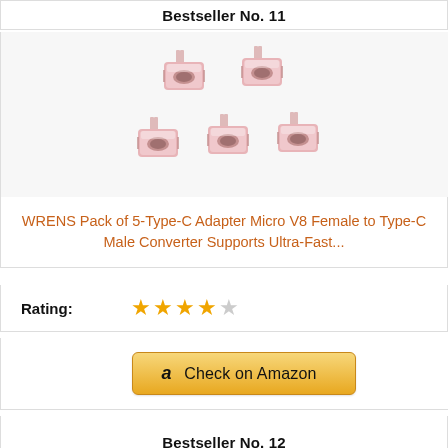Bestseller No. 11
[Figure (photo): Five rose-gold USB Type-C adapter connectors arranged in two rows (2 on top, 3 on bottom)]
WRENS Pack of 5-Type-C Adapter Micro V8 Female to Type-C Male Converter Supports Ultra-Fast...
Rating: ★★★★☆
Check on Amazon
Bestseller No. 12